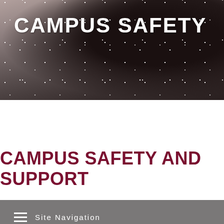[Figure (photo): Hero image showing a person (likely a student) covered in snow during a winter snowstorm, with a blurred campus background in dark and muted tones]
CAMPUS SAFETY
Site Navigation
CAMPUS SAFETY AND SUPPORT
GUIDE TO CAMPUS SAFETY AND SUPPORTIVE SERVICES